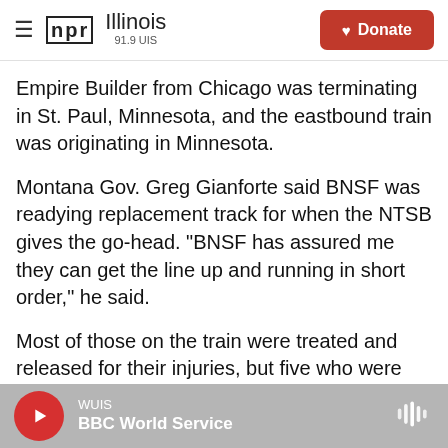NPR Illinois 91.9 UIS — Donate
Empire Builder from Chicago was terminating in St. Paul, Minnesota, and the eastbound train was originating in Minnesota.
Montana Gov. Greg Gianforte said BNSF was readying replacement track for when the NTSB gives the go-head. "BNSF has assured me they can get the line up and running in short order," he said.
Most of those on the train were treated and released for their injuries, but five who were more seriously hurt remained at the Benefis Health System hospital in Great Falls, Montana, said Sarah
WUIS — BBC World Service